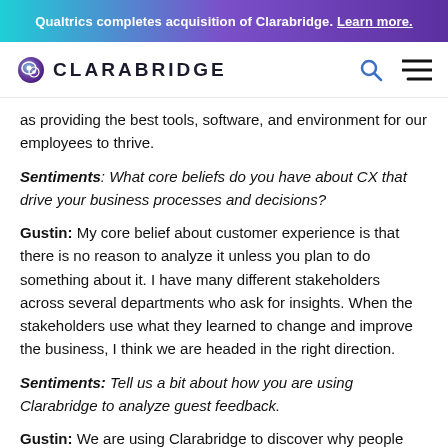Qualtrics completes acquisition of Clarabridge. Learn more.
[Figure (logo): Clarabridge logo with brain icon and wordmark, navigation bar with search and menu icons]
as providing the best tools, software, and environment for our employees to thrive.
Sentiments: What core beliefs do you have about CX that drive your business processes and decisions?
Gustin: My core belief about customer experience is that there is no reason to analyze it unless you plan to do something about it. I have many different stakeholders across several departments who ask for insights. When the stakeholders use what they learned to change and improve the business, I think we are headed in the right direction.
Sentiments: Tell us a bit about how you are using Clarabridge to analyze guest feedback.
Gustin: We are using Clarabridge to discover why people